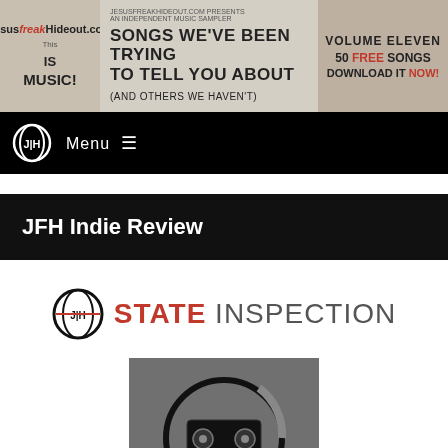[Figure (screenshot): JesusFreaKHideout.com banner advertisement for Volume Eleven indie music sampler: 50 Free Songs, Download It Now]
[Figure (logo): JFH logo with Menu hamburger navigation bar on black background]
JFH Indie Review
[Figure (logo): JFH logo circle with STATE INSPECTION text, STATE in red and INSPECTION in dark gray]
[Figure (photo): Album art for Dime Store Heist - How To... with VHS tape cassette design in circular logo]